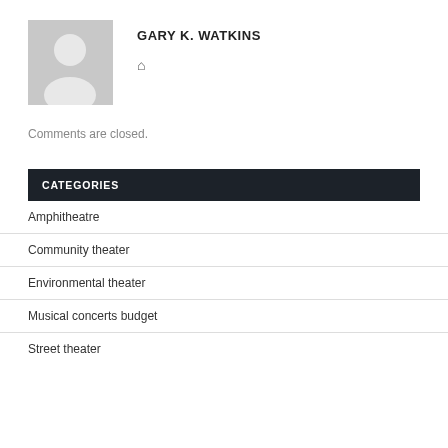[Figure (illustration): Generic user profile avatar silhouette on gray background]
GARY K. WATKINS
🏠
Comments are closed.
CATEGORIES
Amphitheatre
Community theater
Environmental theater
Musical concerts budget
Street theater